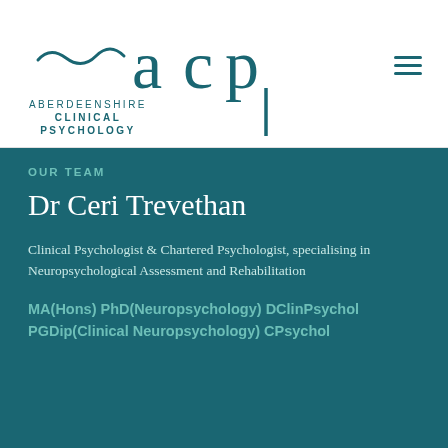[Figure (logo): Aberdeenshire Clinical Psychology logo with stylized 'acp' lettering and wavy line, teal color]
OUR TEAM
Dr Ceri Trevethan
Clinical Psychologist & Chartered Psychologist, specialising in Neuropsychological Assessment and Rehabilitation
MA(Hons) PhD(Neuropsychology) DClinPsychol PGDip(Clinical Neuropsychology) CPsychol